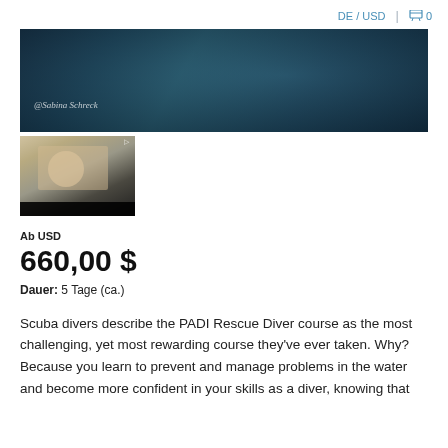DE / USD  🛒 0
[Figure (photo): Wide banner photo showing scuba divers underwater in dark teal water, with a watermark reading '@Sabina Schreck']
[Figure (photo): Thumbnail video frame showing a smiling woman with raised hands indoors]
Ab USD
660,00 $
Dauer: 5 Tage (ca.)
Scuba divers describe the PADI Rescue Diver course as the most challenging, yet most rewarding course they've ever taken. Why? Because you learn to prevent and manage problems in the water and become more confident in your skills as a diver, knowing that